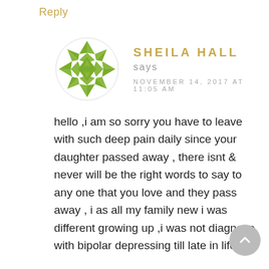Reply
[Figure (illustration): Green geometric quilt-pattern circular avatar icon made of triangular and star shapes]
SHEILA HALL says
NOVEMBER 14, 2017 AT 11:05 AM
hello ,i am so sorry you have to leave with such deep pain daily since your daughter passed away , there isnt & never will be the right words to say to any one that you love and they pass away , i as all my family new i was different growing up ,i was not diagnose with bipolar depressing till late in life